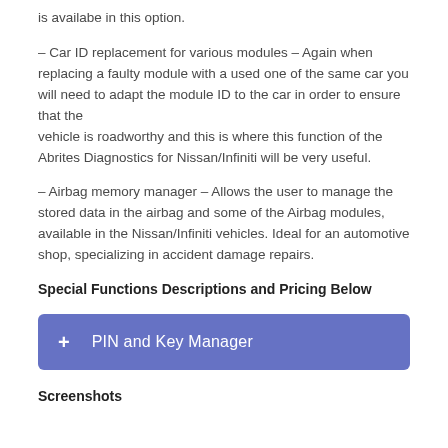is availabe in this option.
– Car ID replacement for various modules – Again when replacing a faulty module with a used one of the same car you will need to adapt the module ID to the car in order to ensure that the vehicle is roadworthy and this is where this function of the Abrites Diagnostics for Nissan/Infiniti will be very useful.
– Airbag memory manager – Allows the user to manage the stored data in the airbag and some of the Airbag modules, available in the Nissan/Infiniti vehicles. Ideal for an automotive shop, specializing in accident damage repairs.
Special Functions Descriptions and Pricing Below
[Figure (other): Blue button labeled '+ PIN and Key Manager']
Screenshots